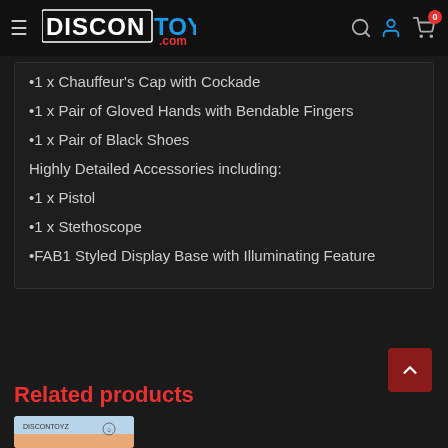DisconToys.com
•1 x Chauffeur's Cap with Cockade
•1 x Pair of Gloved Hands with Bendable Fingers
•1 x Pair of Black Shoes
Highly Detailed Accessories including:
•1 x Pistol
•1 x Stethoscope
•FAB1 Styled Display Base with Illuminating Feature
Related products
[Figure (photo): Product thumbnail image of a toy]